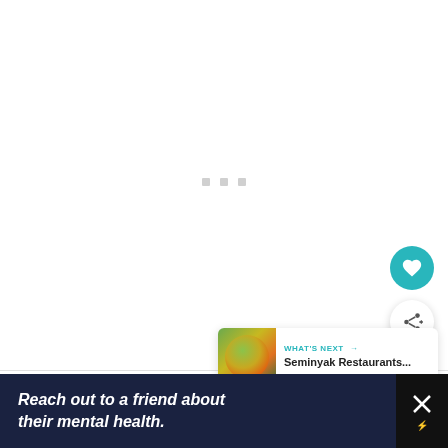[Figure (screenshot): White content area with three small gray dots/squares indicating a loading or carousel state at center]
[Figure (other): Teal circular button with white heart icon (favorite/like button)]
[Figure (other): White circular button with share icon]
[Figure (other): What's Next card showing food image thumbnail and text 'WHAT'S NEXT → Seminyak Restaurants...']
Reach out to a friend about their mental health.